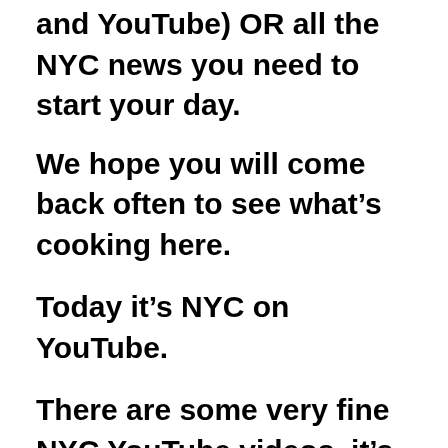and YouTube) OR all the NYC news you need to start your day.
We hope you will come back often to see what’s cooking here.
Today it’s NYC on YouTube.
There are some very fine NYC YouTube videos, it’s tough to pick just a few. Here are some of my faves: